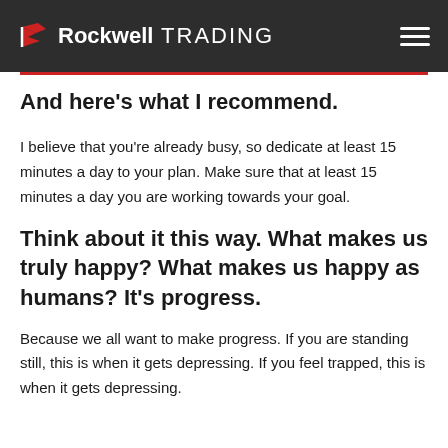Rockwell TRADING
And here's what I recommend.
I believe that you're already busy, so dedicate at least 15 minutes a day to your plan. Make sure that at least 15 minutes a day you are working towards your goal.
Think about it this way. What makes us truly happy? What makes us happy as humans? It's progress.
Because we all want to make progress. If you are standing still, this is when it gets depressing. If you feel trapped, this is when it gets depressing.